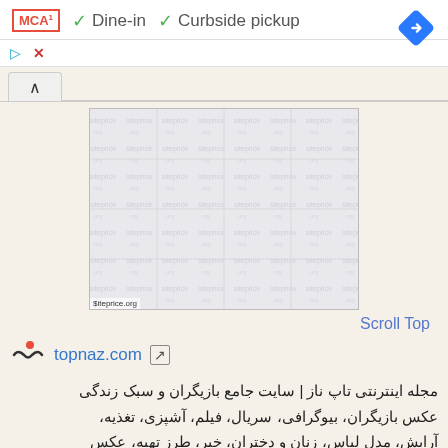[Figure (screenshot): UI top bar with MCA badge, Dine-in and Curbside pickup checkmarks, and a blue navigation diamond icon]
Dine-in   Curbside pickup
[Figure (screenshot): Web UI scroll-up button area and image placeholder with watermark pattern and siteprice.org label]
Scroll Top
[Figure (logo): topnaz.com logo — red dot and mustache icon]
topnaz.com
مجله اینترنتی تاپ ناز | سایت جامع بازیگران و سبک زندگی عکس بازیگران، بیوگرافی، سریال، فیلم، آشپزی، تغذیه، آرایش، مدل لباس، زنان و دختران، خبر، طرز تهیه، عکس پروفایل، سریال جدید، عکس جدید، عاشقانه، دکوراسیون